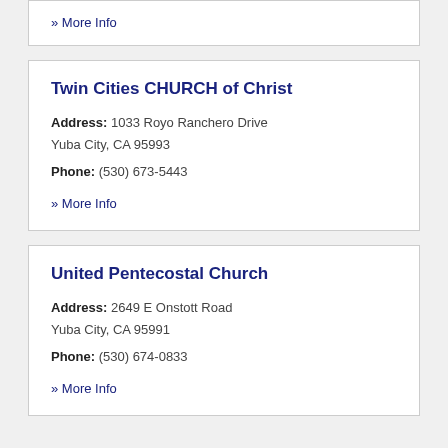» More Info
Twin Cities CHURCH of Christ
Address: 1033 Royo Ranchero Drive Yuba City, CA 95993
Phone: (530) 673-5443
» More Info
United Pentecostal Church
Address: 2649 E Onstott Road Yuba City, CA 95991
Phone: (530) 674-0833
» More Info